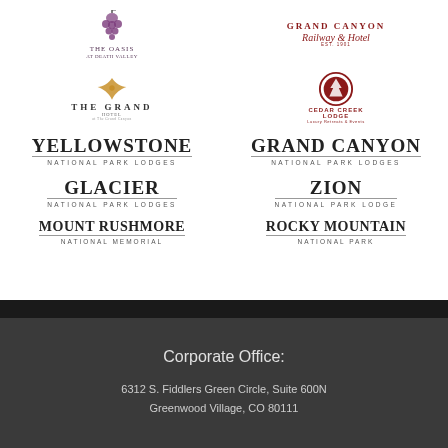[Figure (logo): The Oasis at Death Valley logo - stylized grape cluster with text]
[Figure (logo): Grand Canyon Railway & Hotel logo with cursive script]
[Figure (logo): The Grand Hotel at The Grand Canyon logo with stylized V emblem]
[Figure (logo): Cedar Creek Lodge logo with circular emblem]
[Figure (logo): Yellowstone National Park Lodges logo]
[Figure (logo): Grand Canyon National Park Lodges logo]
[Figure (logo): Glacier National Park Lodges logo]
[Figure (logo): Zion National Park Lodge logo]
[Figure (logo): Mount Rushmore National Memorial logo]
[Figure (logo): Rocky Mountain National Park logo]
Corporate Office:
6312 S. Fiddlers Green Circle, Suite 600N
Greenwood Village, CO 80111